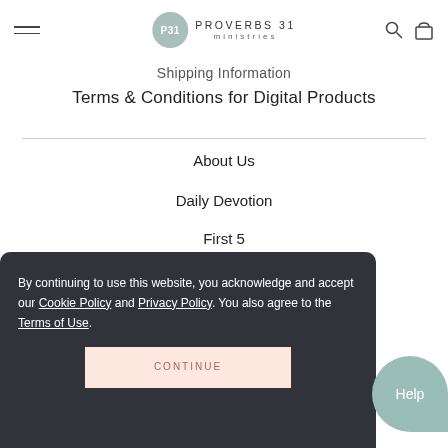Proverbs 31 Ministries
Shipping Information
Terms & Conditions for Digital Products
About Us
Daily Devotion
First 5
Online Bible Studies
Resource Library
Do You Know Jesus?
By continuing to use this website, you acknowledge and accept our Cookie Policy and Privacy Policy. You also agree to the Terms of Use.
CONTINUE
Help